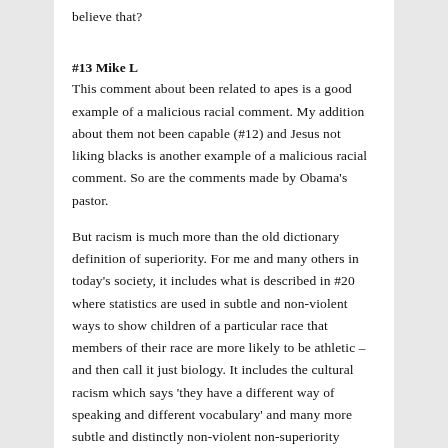believe that?
#13 Mike L
This comment about been related to apes is a good example of a malicious racial comment. My addition about them not been capable (#12) and Jesus not liking blacks is another example of a malicious racial comment. So are the comments made by Obama's pastor.
But racism is much more than the old dictionary definition of superiority. For me and many others in today's society, it includes what is described in #20 where statistics are used in subtle and non-violent ways to show children of a particular race that members of their race are more likely to be athletic –and then call it just biology. It includes the cultural racism which says 'they have a different way of speaking and different vocabulary' and many more subtle and distinctly non-violent non-superiority